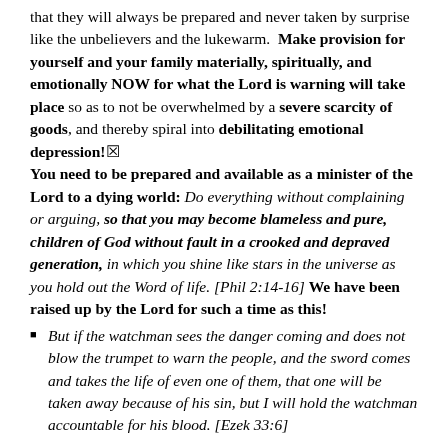that they will always be prepared and never taken by surprise like the unbelievers and the lukewarm. Make provision for yourself and your family materially, spiritually, and emotionally NOW for what the Lord is warning will take place so as to not be overwhelmed by a severe scarcity of goods, and thereby spiral into debilitating emotional depression! You need to be prepared and available as a minister of the Lord to a dying world: Do everything without complaining or arguing, so that you may become blameless and pure, children of God without fault in a crooked and depraved generation, in which you shine like stars in the universe as you hold out the Word of life. [Phil 2:14-16] We have been raised up by the Lord for such a time as this!
But if the watchman sees the danger coming and does not blow the trumpet to warn the people, and the sword comes and takes the life of even one of them, that one will be taken away because of his sin, but I will hold the watchman accountable for his blood. [Ezek 33:6]